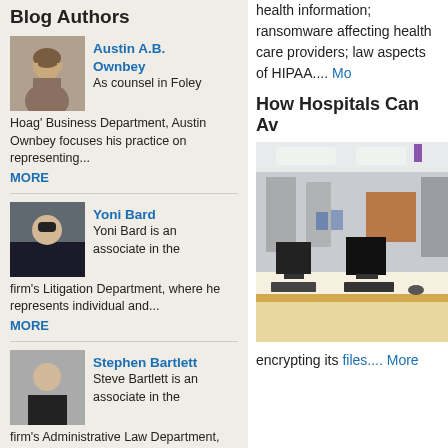Blog Authors
Austin A.B. Ownbey
As counsel in Foley Hoag' Business Department, Austin Ownbey focuses his practice on representing...
MORE
Yoni Bard
Yoni Bard is an associate in the firm's Litigation Department, where he represents individual and...
MORE
Stephen Bartlett
Steve Bartlett is an associate in the firm's Administrative Law Department, where he counsels...
MORE
John Murray
John Murray is a partner in Foley...
health information; ransomware affecting health care providers; law aspects of HIPAA.... Mo
How Hospitals Can Av
[Figure (photo): Hospital corridor with nursing station, computers on desk, hallway with doors visible in background]
encrypting its files.... More